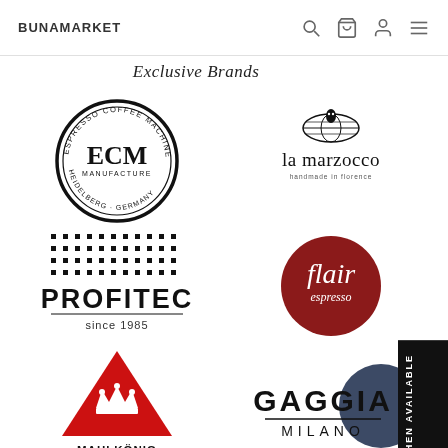BUNAMARKET
Exclusive Brands
[Figure (logo): ECM Espresso Coffee Machine Manufacture Heidelberg Germany logo — circular black badge with ECM in bold serif]
[Figure (logo): La Marzocco logo — globe/eye symbol above text 'la marzocco' with tagline 'handmade in florence']
[Figure (logo): Profitec logo — dot-grid pattern above bold sans-serif PROFITEC text, 'since 1985' below]
[Figure (logo): Flair Espresso logo — dark red circle with white script 'flair espresso' text]
[Figure (logo): Mahlkönig logo — red triangle with crown above, MAHLKÖNIG text]
[Figure (logo): Gaggia Milano logo — GAGGIA bold text above MILANO, with partial circular mark]